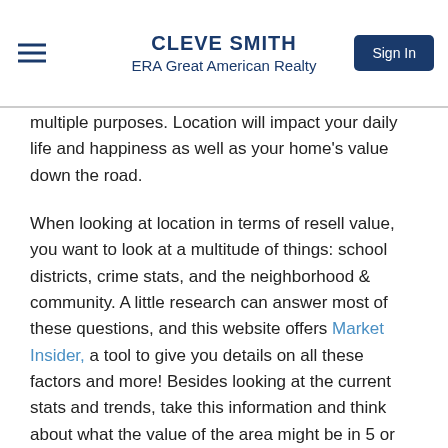CLEVE SMITH
ERA Great American Realty
multiple purposes. Location will impact your daily life and happiness as well as your home's value down the road.
When looking at location in terms of resell value, you want to look at a multitude of things: school districts, crime stats, and the neighborhood & community. A little research can answer most of these questions, and this website offers Market Insider, a tool to give you details on all these factors and more! Besides looking at the current stats and trends, take this information and think about what the value of the area might be in 5 or 10 years when you potentially could resell your home.
Along with the resale value, analyze the location of a